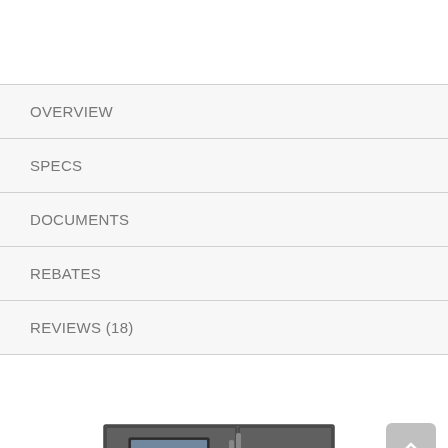OVERVIEW
SPECS
DOCUMENTS
REBATES
REVIEWS (18)
[Figure (photo): Product photo of a refrigerator with French doors, partially visible at bottom of page. A small plant is visible to the right. A scroll-to-top button (chevron up) appears in the lower right corner.]